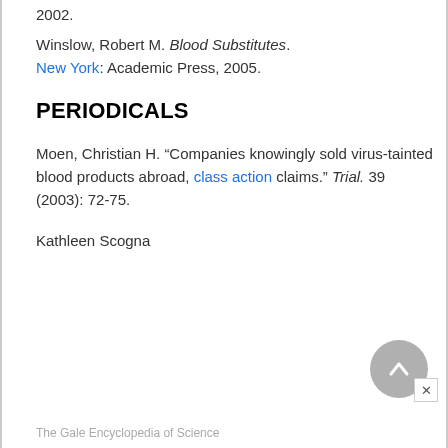2002.
Winslow, Robert M. Blood Substitutes. New York: Academic Press, 2005.
PERIODICALS
Moen, Christian H. “Companies knowingly sold virus-tainted blood products abroad, class action claims.” Trial. 39 (2003): 72-75.
Kathleen Scogna
The Gale Encyclopedia of Science